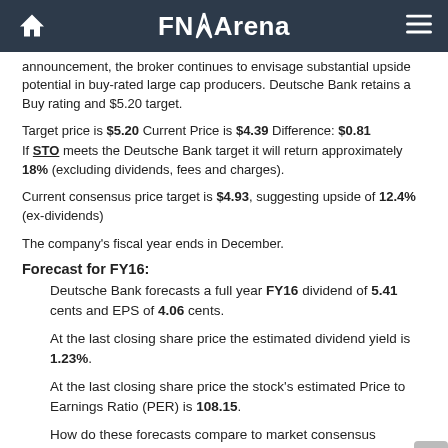FNArena
announcement, the broker continues to envisage substantial upside potential in buy-rated large cap producers. Deutsche Bank retains a Buy rating and $5.20 target.
Target price is $5.20 Current Price is $4.39 Difference: $0.81 If STO meets the Deutsche Bank target it will return approximately 18% (excluding dividends, fees and charges).
Current consensus price target is $4.93, suggesting upside of 12.4% (ex-dividends)
The company's fiscal year ends in December.
Forecast for FY16:
Deutsche Bank forecasts a full year FY16 dividend of 5.41 cents and EPS of 4.06 cents.
At the last closing share price the estimated dividend yield is 1.23%.
At the last closing share price the stock's estimated Price to Earnings Ratio (PER) is 108.15.
How do these forecasts compare to market consensus projections?